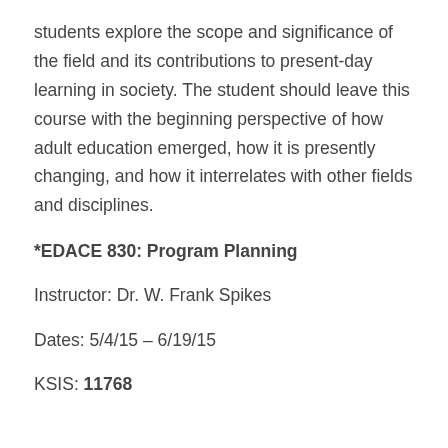students explore the scope and significance of the field and its contributions to present-day learning in society. The student should leave this course with the beginning perspective of how adult education emerged, how it is presently changing, and how it interrelates with other fields and disciplines.
*EDACE 830: Program Planning
Instructor: Dr. W. Frank Spikes
Dates: 5/4/15 – 6/19/15
KSIS: 11768